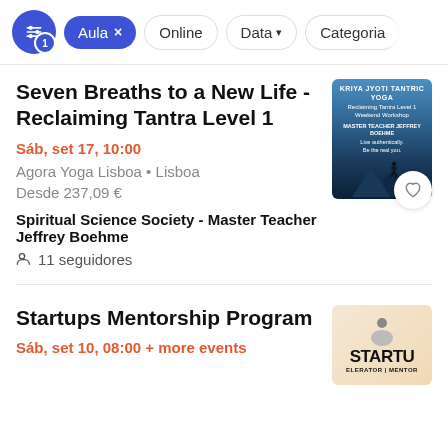Aula × Online Data ▾ Categoria
Seven Breaths to a New Life - Reclaiming Tantra Level 1
Sáb, set 17, 10:00
Agora Yoga Lisboa • Lisboa
Desde 237,09 €
Spiritual Science Society - Master Teacher Jeffrey Boehme
11 seguidores
[Figure (photo): Event thumbnail for Kriya Jyoti Tantric Yoga - Reclaiming Tantra Level 1 Weekend Workshop with blue mountain silhouette background]
Startups Mentorship Program
Sáb, set 10, 08:00 + more events
[Figure (photo): Event thumbnail for Startups Mentorship Program showing STARTU text and ELERATOR MENTOR text]